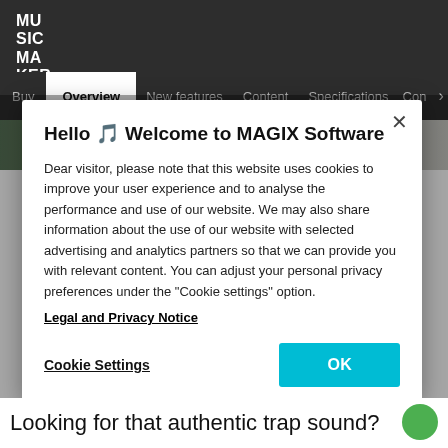MU SIC MA KER
Buy | Overview | New features | Content | Specifications | Con >
Hello 🎵 Welcome to MAGIX Software
Dear visitor, please note that this website uses cookies to improve your user experience and to analyse the performance and use of our website. We may also share information about the use of our website with selected advertising and analytics partners so that we can provide you with relevant content. You can adjust your personal privacy preferences under the "Cookie settings" option.
Legal and Privacy Notice
Cookie Settings
OK
Looking for that authentic trap sound?